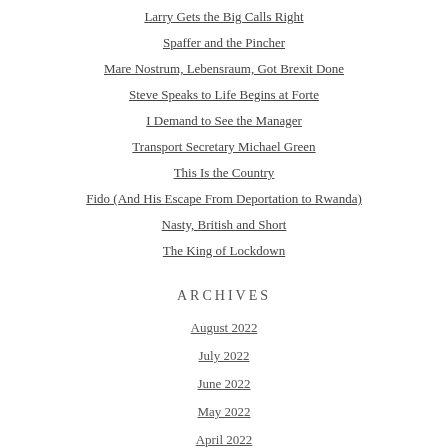Larry Gets the Big Calls Right
Spaffer and the Pincher
Mare Nostrum, Lebensraum, Got Brexit Done
Steve Speaks to Life Begins at Forte
I Demand to See the Manager
Transport Secretary Michael Green
This Is the Country
Fido (And His Escape From Deportation to Rwanda)
Nasty, British and Short
The King of Lockdown
ARCHIVES
August 2022
July 2022
June 2022
May 2022
April 2022
March 2022